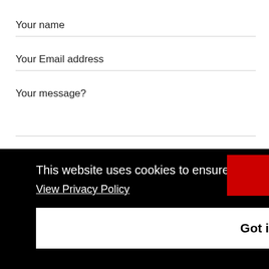Your name
Your Email address
Your message?
This website uses cookies to ensure you get the best experience on our website.
View Privacy Policy
Got it